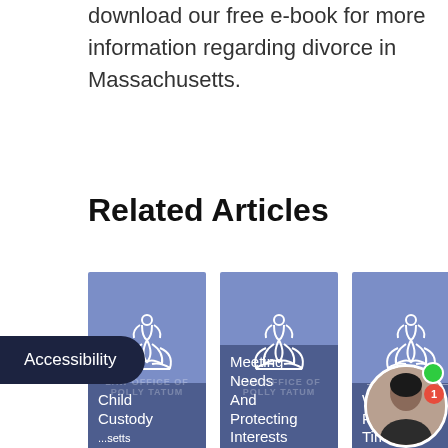download our free e-book for more information regarding divorce in Massachusetts.
Related Articles
[Figure (illustration): Three article cards with blue/purple background and lotus logo. Card 1: Child Custody ...setts. Card 2: Meeting Needs And Protecting Interests. Card 3: What Paren... Time?]
Accessibility